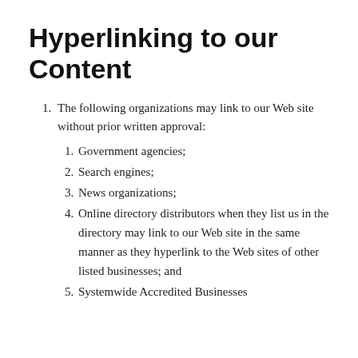Hyperlinking to our Content
The following organizations may link to our Web site without prior written approval:
Government agencies;
Search engines;
News organizations;
Online directory distributors when they list us in the directory may link to our Web site in the same manner as they hyperlink to the Web sites of other listed businesses; and
Systemwide Accredited Businesses